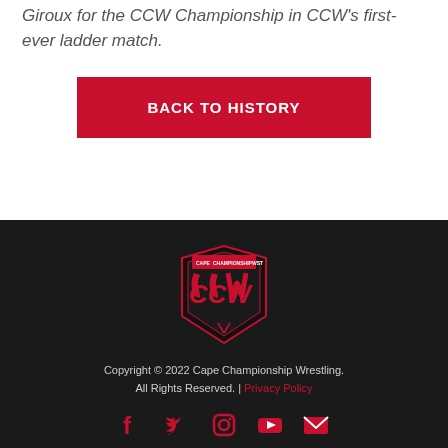Giroux for the CCW Championship in CCW's first-ever ladder match.
BACK TO HISTORY
[Figure (logo): CCW Cape Championship Wrestling shield logo in red and white on dark background]
Copyright © 2022 Cape Championship Wrestling. All Rights Reserved. | Privacy Policy
[Figure (other): Social media icons: Facebook, Twitter, Instagram, YouTube, Email in red]